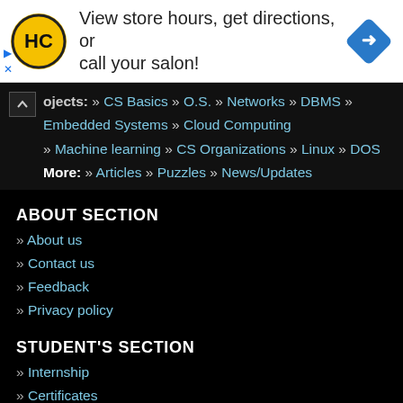[Figure (other): Advertisement banner: HC logo (yellow circle with HC text), text 'View store hours, get directions, or call your salon!', blue diamond navigation icon on right. Ad controls (play and X icons) on bottom left.]
ojects: » CS Basics » O.S. » Networks » DBMS » Embedded Systems » Cloud Computing
» Machine learning » CS Organizations » Linux » DOS
More: » Articles » Puzzles » News/Updates
ABOUT SECTION
» About us
» Contact us
» Feedback
» Privacy policy
STUDENT'S SECTION
» Internship
» Certificates